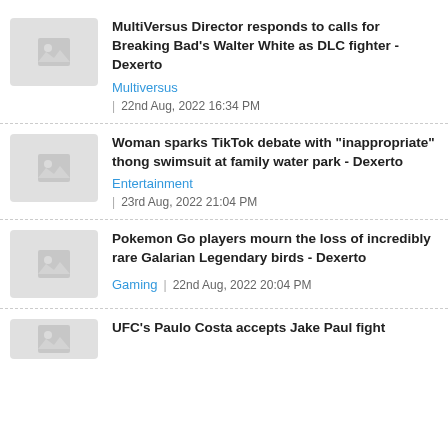MultiVersus Director responds to calls for Breaking Bad's Walter White as DLC fighter - Dexerto | Multiversus | 22nd Aug, 2022 16:34 PM
Woman sparks TikTok debate with "inappropriate" thong swimsuit at family water park - Dexerto | Entertainment | 23rd Aug, 2022 21:04 PM
Pokemon Go players mourn the loss of incredibly rare Galarian Legendary birds - Dexerto | Gaming | 22nd Aug, 2022 20:04 PM
UFC's Paulo Costa accepts Jake Paul fight